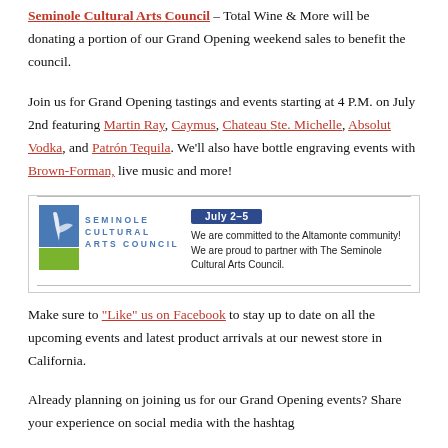Seminole Cultural Arts Council – Total Wine & More will be donating a portion of our Grand Opening weekend sales to benefit the council.
Join us for Grand Opening tastings and events starting at 4 P.M. on July 2nd featuring Martin Ray, Caymus, Chateau Ste. Michelle, Absolut Vodka, and Patrón Tequila. We'll also have bottle engraving events with Brown-Forman, live music and more!
[Figure (infographic): Promotional banner for Seminole Cultural Arts Council partnership with Total Wine & More, July 2-5. Features the Seminole Cultural Arts Council logo and text: 'We are committed to the Altamonte community! We are proud to partner with The Seminole Cultural Arts Council.']
Make sure to "Like" us on Facebook to stay up to date on all the upcoming events and latest product arrivals at our newest store in California.
Already planning on joining us for our Grand Opening events? Share your experience on social media with the hashtag